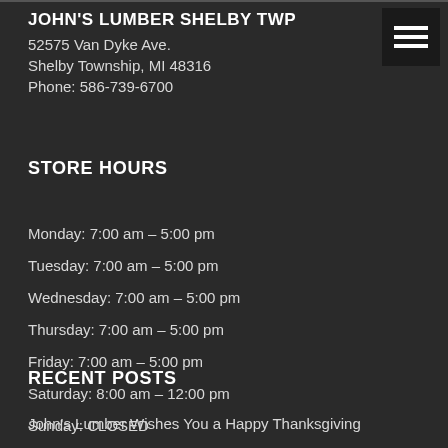JOHN'S LUMBER SHELBY TWP
52575 Van Dyke Ave.
Shelby Township, MI 48316
Phone: 586-739-6700
STORE HOURS
Monday: 7:00 am – 5:00 pm
Tuesday: 7:00 am – 5:00 pm
Wednesday: 7:00 am – 5:00 pm
Thursday: 7:00 am – 5:00 pm
Friday: 7:00 am – 5:00 pm
Saturday: 8:00 am – 12:00 pm
Sunday: CLOSED
RECENT POSTS
John's Lumber Wishes You a Happy Thanksgiving